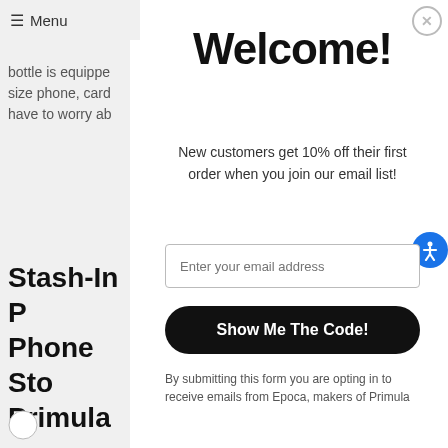≡ Menu
bottle is equipped size phone, card have to worry ab
Welcome!
New customers get 10% off their first order when you join our email list!
Stash-In P Phone Sto Primula
Enter your email address
Show Me The Code!
By submitting this form you are opting in to receive emails from Epoca, makers of Primula